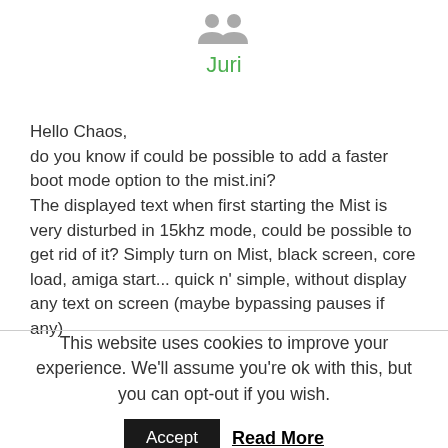[Figure (illustration): Two grey person/user avatar icons side by side at the top of the page]
Juri
Hello Chaos,
do you know if could be possible to add a faster boot mode option to the mist.ini?
The displayed text when first starting the Mist is very disturbed in 15khz mode, could be possible to get rid of it? Simply turn on Mist, black screen, core load, amiga start... quick n' simple, without display any text on screen (maybe bypassing pauses if any)
thanks
This website uses cookies to improve your experience. We'll assume you're ok with this, but you can opt-out if you wish.
Accept	Read More